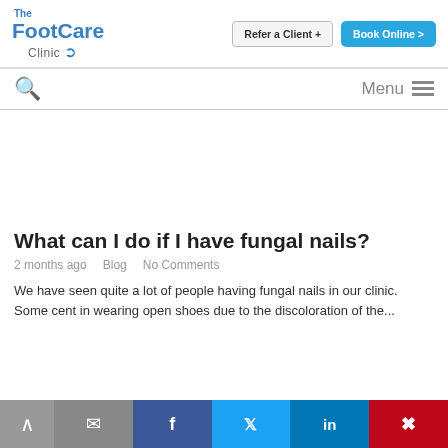[Figure (logo): The FootCare Clinic logo with blue text and swoosh]
[Figure (other): Refer a Client and Book Online navigation buttons]
[Figure (other): Search icon and Menu hamburger navigation bar]
[Figure (other): White space / image area placeholder]
What can I do if I have fungal nails?
2 months ago   Blog   No Comments
We have seen quite a lot of people having fungal nails in our clinic. Some c...ent in wearing open shoes due to the discoloration of the...
[Figure (other): Social share bar with scroll-up, email, Facebook, Twitter, LinkedIn, Pinterest buttons]